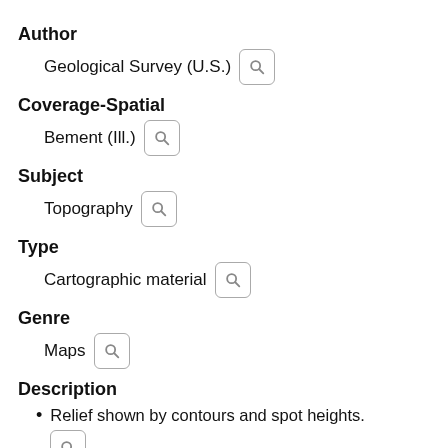Author
Geological Survey (U.S.)
Coverage-Spatial
Bement (Ill.)
Subject
Topography
Type
Cartographic material
Genre
Maps
Description
Relief shown by contours and spot heights.
Culture and drainage in part compiled from aerial photographs taken 1946 and 1953. Topography by plane-table surveys 1954-1955.